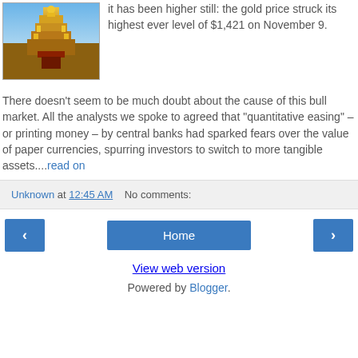[Figure (photo): Photo of a golden ornate Buddhist temple stupa with decorative golden details]
it has been higher still: the gold price struck its highest ever level of $1,421 on November 9.
There doesn't seem to be much doubt about the cause of this bull market. All the analysts we spoke to agreed that "quantitative easing" – or printing money – by central banks had sparked fears over the value of paper currencies, spurring investors to switch to more tangible assets....read on
Unknown at 12:45 AM   No comments:
‹  Home  ›
View web version
Powered by Blogger.